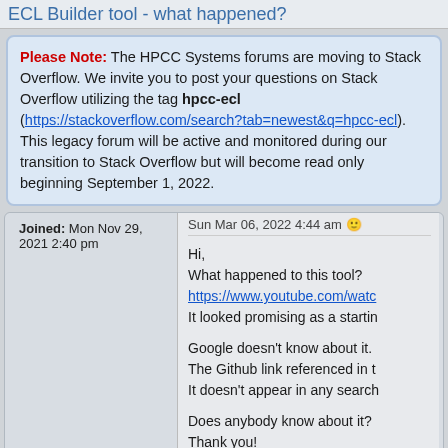ECL Builder tool - what happened?
Please Note: The HPCC Systems forums are moving to Stack Overflow. We invite you to post your questions on Stack Overflow utilizing the tag hpcc-ecl (https://stackoverflow.com/search?tab=newest&q=hpcc-ecl). This legacy forum will be active and monitored during our transition to Stack Overflow but will become read only beginning September 1, 2022.
Joined: Mon Nov 29, 2021 2:40 pm
Sun Mar 06, 2022 4:44 am
Hi,
What happened to this tool?
https://www.youtube.com/watc
It looked promising as a startin

Google doesn't know about it.
The Github link referenced in t
It doesn't appear in any search

Does anybody know about it?
Thank you!